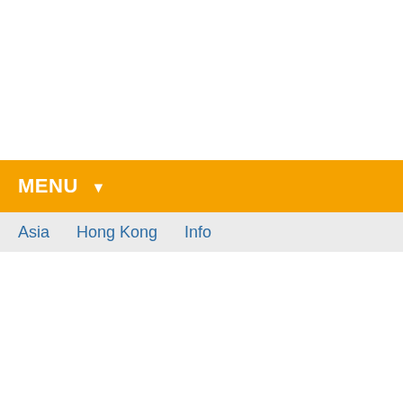MENU ▼
Asia   Hong Kong   Info